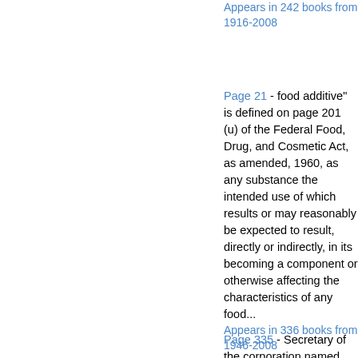Appears in 242 books from 1916-2008
Page 21 - food additive" is defined on page 201 (u) of the Federal Food, Drug, and Cosmetic Act, as amended, 1960, as any substance the intended use of which results or may reasonably be expected to result, directly or indirectly, in its becoming a component or otherwise affecting the characteristics of any food...
Appears in 336 books from 1946-2008
Page 335 - Secretary of the corporation named